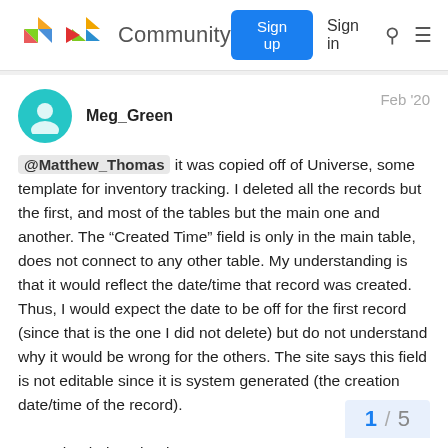Community | Sign up | Sign in
Meg_Green   Feb '20
@Matthew_Thomas it was copied off of Universe, some template for inventory tracking. I deleted all the records but the first, and most of the tables but the main one and another. The "Created Time" field is only in the main table, does not connect to any other table. My understanding is that it would reflect the date/time that record was created. Thus, I would expect the date to be off for the first record (since that is the one I did not delete) but do not understand why it would be wrong for the others. The site says this field is not editable since it is system generated (the creation date/time of the record).

Does that help? Thanks!
1 / 5